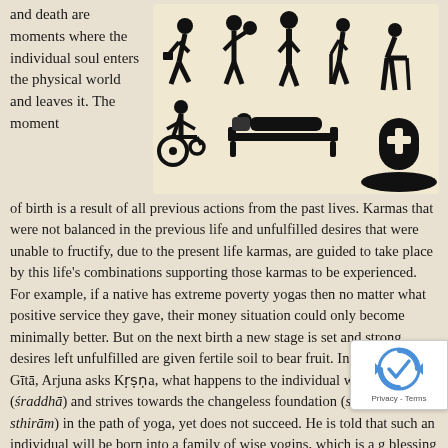and death are moments where the individual soul enters the physical world and leaves it. The moment
[Figure (illustration): Silhouette icons showing stages of human life: walking person with briefcase, person with sack, tall figure, elderly person with cane, bent elderly person; second row: person in wheelchair, person lying in hospital bed, gravestone — representing human life cycle from birth to death.]
of birth is a result of all previous actions from the past lives. Karmas that were not balanced in the previous life and unfulfilled desires that were unable to fructify, due to the present life karmas, are guided to take place by this life's combinations supporting those karmas to be experienced. For example, if a native has extreme poverty yogas then no matter what positive service they gave, their money situation could only become minimally better. But on the next birth a new stage is set and strong desires left unfulfilled are given fertile soil to bear fruit. In the Bhagavad Gītā, Arjuna asks Kṛṣṇa, what happens to the individual who has faith (śraddhā) and strives towards the changeless foundation (sthitiṁ sthirām) in the path of yoga, yet does not succeed. He is told that such an individual will be born into a family of wise yogins, which is a g blessing and hard to achieve. In this way, the individual will learn t knowledge of the last life, and be carried on- even against his will attain the supreme goal (parāṁ gatiṁ) [5].
[Figure (logo): reCAPTCHA badge with logo and Privacy - Terms text]